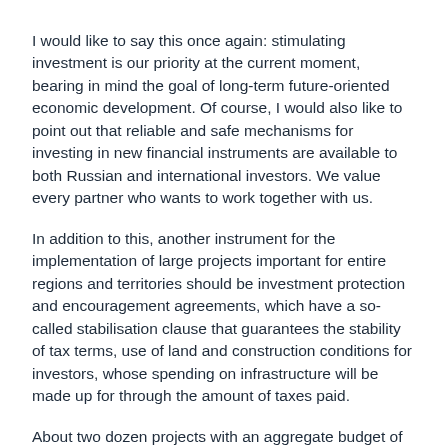I would like to say this once again: stimulating investment is our priority at the current moment, bearing in mind the goal of long-term future-oriented economic development. Of course, I would also like to point out that reliable and safe mechanisms for investing in new financial instruments are available to both Russian and international investors. We value every partner who wants to work together with us.
In addition to this, another instrument for the implementation of large projects important for entire regions and territories should be investment protection and encouragement agreements, which have a so-called stabilisation clause that guarantees the stability of tax terms, use of land and construction conditions for investors, whose spending on infrastructure will be made up for through the amount of taxes paid.
About two dozen projects with an aggregate budget of some